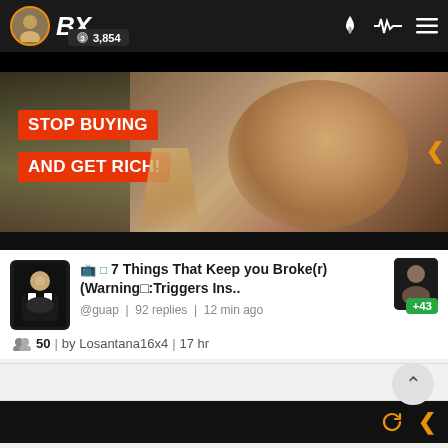BX | 3,854
[Figure (screenshot): Video thumbnail showing a bald man with text overlay 'STOP BUYING AND GET RICH!' in white bold text on red/orange background boxes]
📺 □7 Things That Keep you Broke(r) (Warning□:Triggers Ins..
@guap | 92 replies | 12 min ago
50 | by Losantana16x4 | 17 hr
[Figure (screenshot): Bottom preview strip of another thread, dark/black background with refresh and arrow icons in orange]